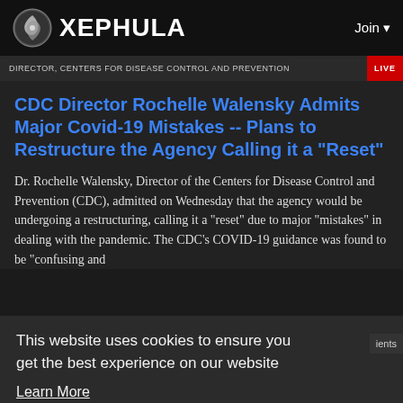XEPHULA   Join
[Figure (screenshot): Video banner strip showing text: DIRECTOR, CENTERS FOR DISEASE CONTROL AND PREVENTION with a LIVE badge on the right]
CDC Director Rochelle Walensky Admits Major Covid-19 Mistakes -- Plans to Restructure the Agency Calling it a "Reset"
Dr. Rochelle Walensky, Director of the Centers for Disease Control and Prevention (CDC), admitted on Wednesday that the agency would be undergoing a restructuring, calling it a “reset” due to major “mistakes” in dealing with the pandemic. The CDC’s COVID-19 guidance was found to be “confusing and
This website uses cookies to ensure you get the best experience on our website
Learn More
Got It!